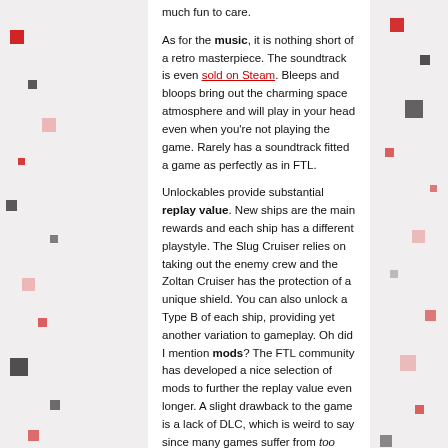much fun to care.
As for the music, it is nothing short of a retro masterpiece. The soundtrack is even sold on Steam. Bleeps and bloops bring out the charming space atmosphere and will play in your head even when you're not playing the game. Rarely has a soundtrack fitted a game as perfectly as in FTL.
Unlockables provide substantial replay value. New ships are the main rewards and each ship has a different playstyle. The Slug Cruiser relies on taking out the enemy crew and the Zoltan Cruiser has the protection of a unique shield. You can also unlock a Type B of each ship, providing yet another variation to gameplay. Oh did I mention mods? The FTL community has developed a nice selection of mods to further the replay value even longer. A slight drawback to the game is a lack of DLC, which is weird to say since many games suffer from too much DLC.
You will die. You will die a lot. The game can be exceedingly difficult at times and the “Easy” mode is more like Normal. The “Normal” mode should really be called Death. Yet even when losing FTL is